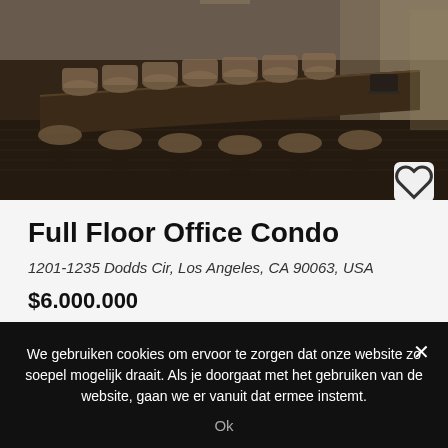[Figure (photo): Conference room with a long wooden table, multiple office chairs, and large windows with a view outside. Dark/warm tones.]
Full Floor Office Condo
1201-1235 Dodds Cir, Los Angeles, CA 90063, USA
$6.000.000
FOR RENT
We gebruiken cookies om ervoor te zorgen dat onze website zo soepel mogelijk draait. Als je doorgaat met het gebruiken van de website, gaan we er vanuit dat ermee instemt.
Ok